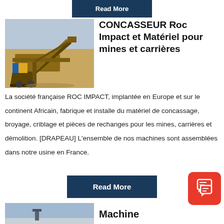[Figure (other): Partial 'Read More' button at top of page (dark navy blue button, partially cropped)]
[Figure (photo): Photograph of a large industrial rock crusher / mining machine on a dusty job site, yellow and brown machinery with conveyor belts]
CONCASSEUR Roc Impact et Matériel pour mines et carrières
La société française ROC IMPACT, implantée en Europe et sur le continent Africain, fabrique et installe du matériel de concassage, broyage, criblage et pièces de rechanges pour les mines, carrières et démolition. [DRAPEAU] L'ensemble de nos machines sont assemblées dans notre usine en France.
[Figure (other): Dark navy blue 'Read More' button]
[Figure (other): Red rounded-square chat/message icon with speech bubble and document symbols]
[Figure (photo): Partial photograph of another machine, partially cropped at bottom of page]
Machine